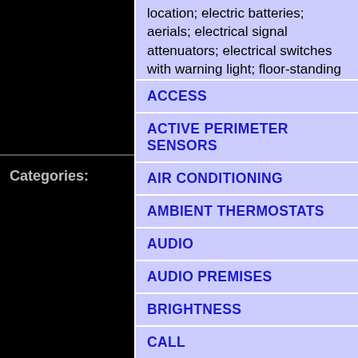location; electric batteries; aerials; electrical signal attenuators; electrical switches with warning light; floor-standing columns in the nature of front columns and post boxes; phonic group in the nature of speaker and microphone units for audio and video premises and door entry systems
Categories:
ACCESS
ACTIVE PERIMETER SENSORS
AIR CONDITIONING
AMBIENT THERMOSTATS
AUDIO
AUDIO PREMISES
BRIGHTNESS
CALL